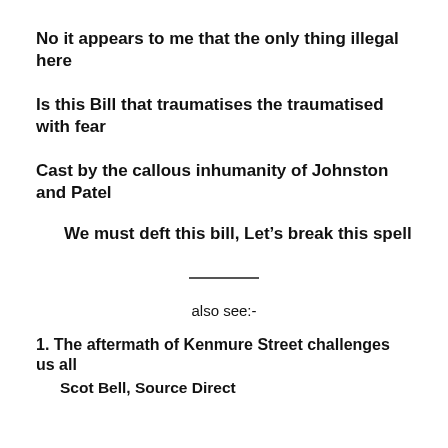No it appears to me that the only thing illegal here
Is this Bill that traumatises the traumatised with fear
Cast by the callous inhumanity of Johnston and Patel
We must deft this bill, Let’s break this spell
also see:-
1. The aftermath of Kenmure Street challenges us all
Scot Bell, Source Direct